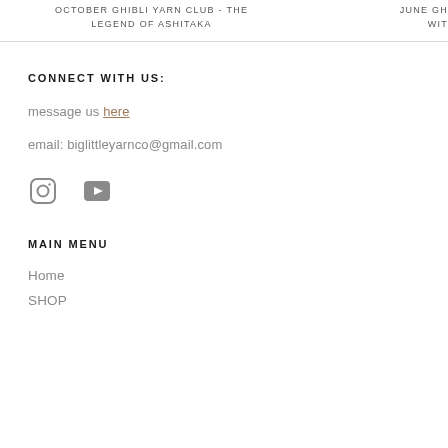OCTOBER GHIBLI YARN CLUB - THE LEGEND OF ASHITAKA
JUNE GH... WIT...
CONNECT WITH US:
message us here
email: biglittleyarnco@gmail.com
[Figure (illustration): Instagram and YouTube social media icons]
MAIN MENU
Home
SHOP